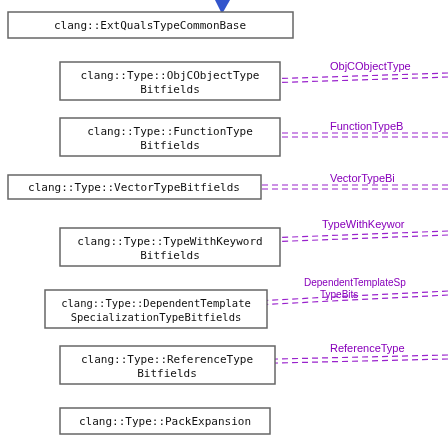[Figure (engineering-diagram): UML/class inheritance diagram showing clang type bitfield classes. Boxes on the left contain class names: clang::ExtQualsTypeCommonBase (partially visible at top), clang::Type::ObjCObjectTypeBitfields, clang::Type::FunctionTypeBitfields, clang::Type::VectorTypeBitfields, clang::Type::TypeWithKeywordBitfields, clang::Type::DependentTemplateSpecializationTypeBitfields, clang::Type::ReferenceTypeBitfields, clang::Type::PackExpansion (partially visible at bottom). Each box has a dashed purple arrow pointing to it from the right side, labeled with shortened class names: ObjCObjectType, FunctionTypeB, VectorTypeBi, TypeWithKeywor, DependentTemplateSp TypeBits, ReferenceType.]